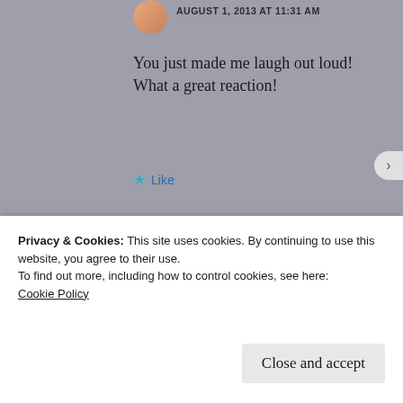[Figure (photo): Small circular avatar image of a person, partially visible at top]
AUGUST 1, 2013 AT 11:31 AM
You just made me laugh out loud! What a great reaction!
★ Like
REPLY
[Figure (screenshot): Dark banner advertisement with a teal 'Learn More' rounded button]
Privacy & Cookies: This site uses cookies. By continuing to use this website, you agree to their use.
To find out more, including how to control cookies, see here:
Cookie Policy
Close and accept